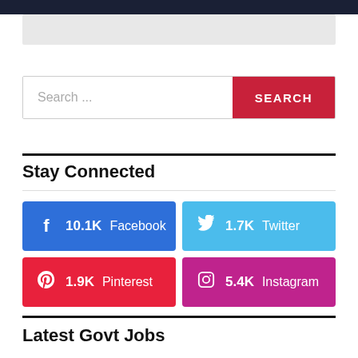[Figure (screenshot): Gray placeholder/banner box at top of page]
Search ...
Stay Connected
10.1K Facebook
1.7K Twitter
1.9K Pinterest
5.4K Instagram
Latest Govt Jobs